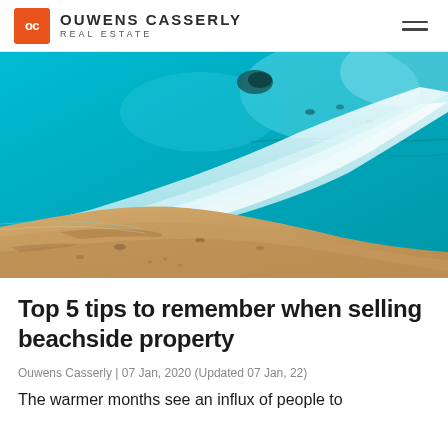OC OUWENS CASSERLY REAL ESTATE
[Figure (photo): Aerial view of a beach with turquoise ocean water and white surf meeting golden sandy shore, photographed from above]
Top 5 tips to remember when selling beachside property
Ouwens Casserly | 07 Jan, 2020 (Updated 07 Jan, 22)
The warmer months see an influx of people to